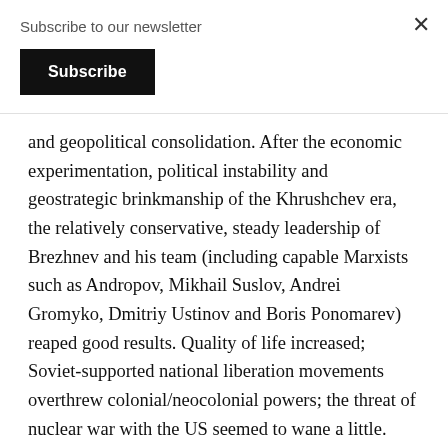Subscribe to our newsletter
Subscribe
and geopolitical consolidation. After the economic experimentation, political instability and geostrategic brinkmanship of the Khrushchev era, the relatively conservative, steady leadership of Brezhnev and his team (including capable Marxists such as Andropov, Mikhail Suslov, Andrei Gromyko, Dmitriy Ustinov and Boris Ponomarev) reaped good results. Quality of life increased; Soviet-supported national liberation movements overthrew colonial/neocolonial powers; the threat of nuclear war with the US seemed to wane a little. However, the period from the mid-1970s through to Brezhnev's death is widely regarded as the ‘era of stagnation’...